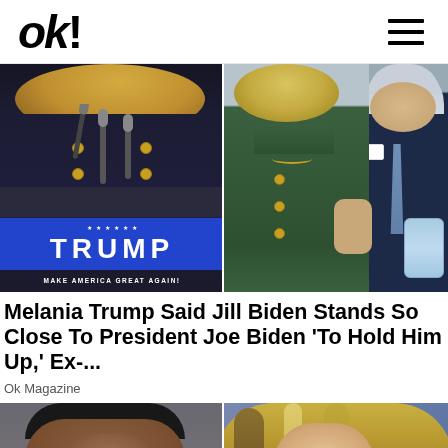OK!
[Figure (photo): Two-panel photo: Left panel shows Melania Trump at a podium with a blue Trump / Make America Great Again banner. Right panel shows Jill Biden in a green dress standing next to President Joe Biden in a dark suit holding a face mask.]
Melania Trump Said Jill Biden Stands So Close To President Joe Biden 'To Hold Him Up,' Ex-...
Ok Magazine
[Figure (photo): Two-panel photo at bottom: Left panel shows a close-up of a Black man's face. Right panel shows a blonde woman's face partially visible.]